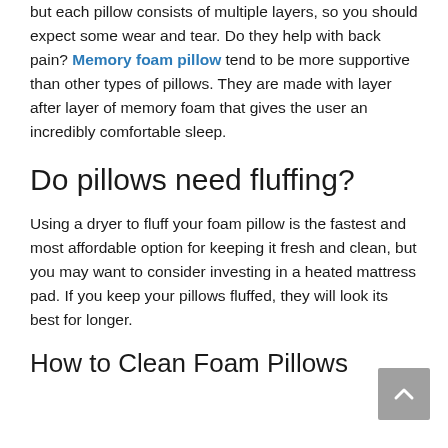but each pillow consists of multiple layers, so you should expect some wear and tear. Do they help with back pain? Memory foam pillow tend to be more supportive than other types of pillows. They are made with layer after layer of memory foam that gives the user an incredibly comfortable sleep.
Do pillows need fluffing?
Using a dryer to fluff your foam pillow is the fastest and most affordable option for keeping it fresh and clean, but you may want to consider investing in a heated mattress pad. If you keep your pillows fluffed, they will look its best for longer.
How to Clean Foam Pillows